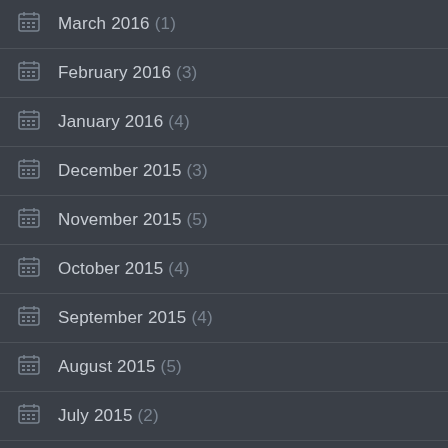March 2016 (1)
February 2016 (3)
January 2016 (4)
December 2015 (3)
November 2015 (5)
October 2015 (4)
September 2015 (4)
August 2015 (5)
July 2015 (2)
June 2015 (4)